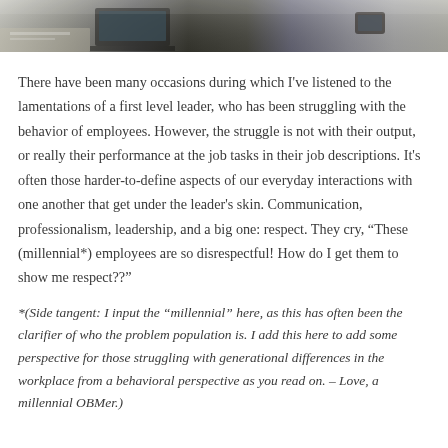[Figure (photo): Cropped photo strip showing office/workspace scenes including papers, a laptop, and a mobile phone on a wooden desk surface.]
There have been many occasions during which I've listened to the lamentations of a first level leader, who has been struggling with the behavior of employees. However, the struggle is not with their output, or really their performance at the job tasks in their job descriptions. It's often those harder-to-define aspects of our everyday interactions with one another that get under the leader's skin. Communication, professionalism, leadership, and a big one: respect. They cry, “These (millennial*) employees are so disrespectful! How do I get them to show me respect??”
*(Side tangent: I input the “millennial” here, as this has often been the clarifier of who the problem population is. I add this here to add some perspective for those struggling with generational differences in the workplace from a behavioral perspective as you read on. – Love, a millennial OBMer.)